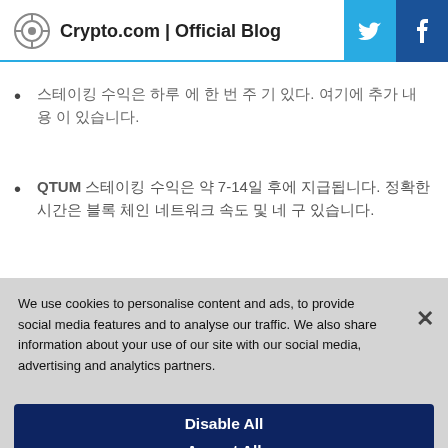Crypto.com | Official Blog
한국어 텍스트입니다 와 같은 내용 이 있다. 여기에 추가 내용 이 있습니다.
QTUM 스테이킹 수익은 약 7-14일 후에 지급됩니다. 정확한 시간은 블록 네트워크 속도 및 네 구 있습니다.
We use cookies to personalise content and ads, to provide social media features and to analyse our traffic. We also share information about your use of our site with our social media, advertising and analytics partners.
Customize Settings
Disable All
Accept All